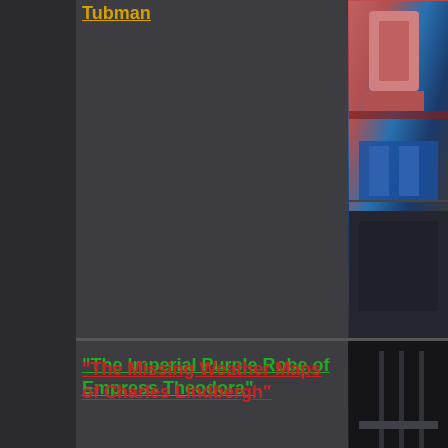Tubman
[Figure (photo): Photo related to Tubman — shows colorful structure with pink/blue elements]
"The Imperial Purple Robe of Empress Theodora"
[Figure (photo): Photo related to Imperial Purple Robe — dark industrial/machinery scene with purple fabric]
"The Missing Weather Maps of Charles Lindbergh"
[Figure (photo): Photo related to Missing Weather Maps of Charles Lindbergh — dark scene with person and equipment]